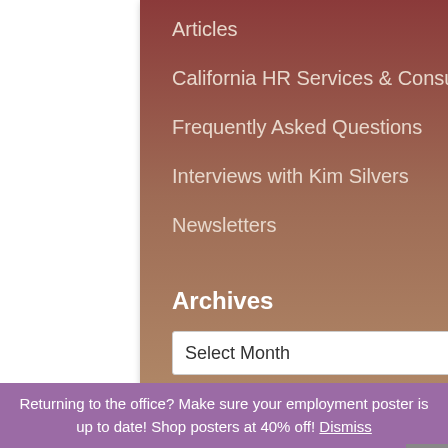Articles
California HR Services & Consulting
Frequently Asked Questions
Interviews with Kim Silvers
Newsletters
Archives
Select Month
Home   Training   HR Practices Review   Testimonials   HR Library   About Us   Contact Us
Returning to the office? Make sure your employment poster is up to date! Shop posters at 40% off! Dismiss